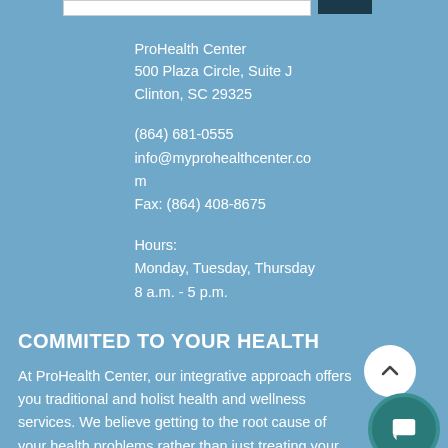ProHealth Center
500 Plaza Circle, Suite J
Clinton, SC 29325
(864) 681-0555
info@myprohealthcenter.com
Fax: (864) 408-8675
Hours:
Monday, Tuesday, Thursday
8 a.m. - 5 p.m.
COMMITED TO YOUR HEALTH
At ProHealth Center, our integrative approach offers you traditional and holistic health and wellness services. We believe getting to the root cause of your health problems rather than just treating your symptoms.